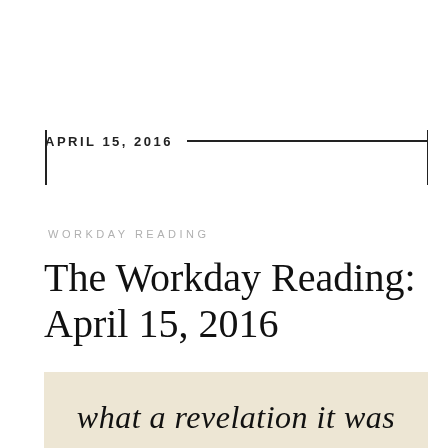APRIL 15, 2016
WORKDAY READING
The Workday Reading: April 15, 2016
[Figure (photo): Handwritten cursive text on a beige/cream textured background reading 'what a revelation it was']